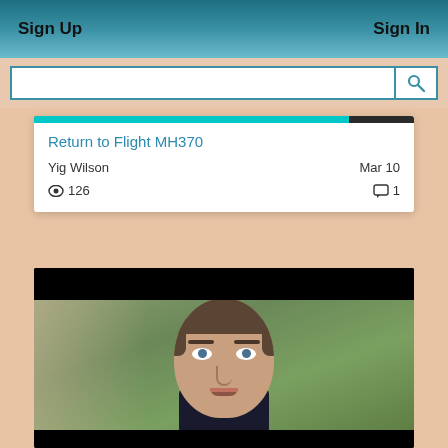Sign Up   Sign In
Return to Flight MH370
Yig Wilson   Mar 10
👁 126   💬 1
[Figure (screenshot): Video thumbnail showing a man in a dark suit speaking to camera, with blurred green outdoor background]